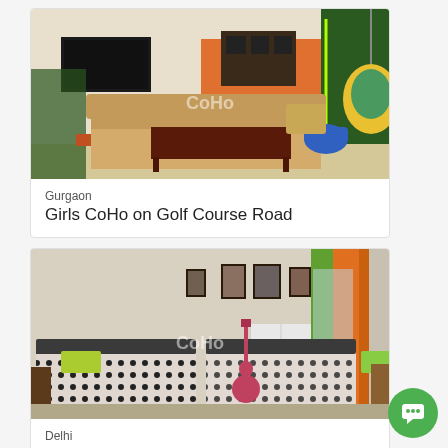[Figure (photo): Interior photo of a co-living lounge/common area with a sofa, wooden coffee table, blue ottoman, hanging rattan egg chair, TV on wall, orange geometric wall art, and green plant wall]
Gurgaon
Girls CoHo on Golf Course Road
[Figure (photo): Interior photo of a shared bedroom with two single beds with black and white dotted bedding, yellow/green accent pillows, a guitar leaning against a white wardrobe, framed pictures on the wall, and orange curtain on the right]
Delhi
Boys Villa in Shakti Nagar